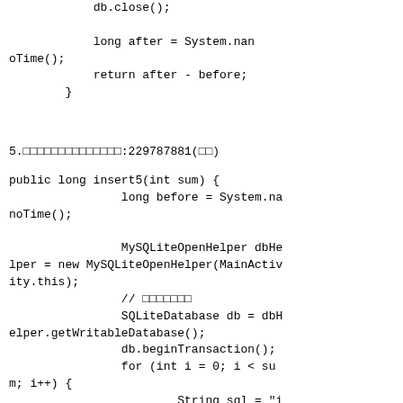db.close();

            long after = System.nanoTime();
            return after - before;
        }
5.□□□□□□□□□□□□□□:229787881(□□)
public long insert5(int sum) {
                long before = System.nanoTime();

                MySQLiteOpenHelper dbHelper = new MySQLiteOpenHelper(MainActivity.this);
                // □□□□□□□
                SQLiteDatabase db = dbHelper.getWritableDatabase();
                db.beginTransaction();
                for (int i = 0; i < sum; i++) {
                        String sql = "i